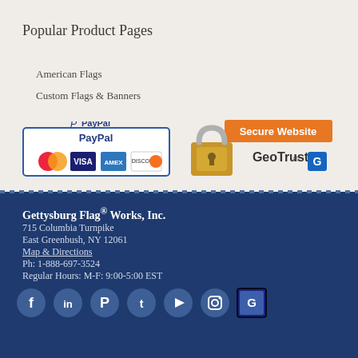Popular Product Pages
American Flags
Custom Flags & Banners
[Figure (logo): PayPal accepted payment methods badge showing MasterCard, Visa, Amex, Discover logos]
[Figure (logo): GeoTrust Secure Website badge with padlock icon]
Gettysburg Flag® Works, Inc.
715 Columbia Turnpike
East Greenbush, NY 12061
Map & Directions
Ph: 1-888-697-3524
Regular Hours: M-F: 9:00-5:00 EST
[Figure (other): Social media icons: Facebook, LinkedIn, Pinterest, Twitter, YouTube, Instagram, Google+]